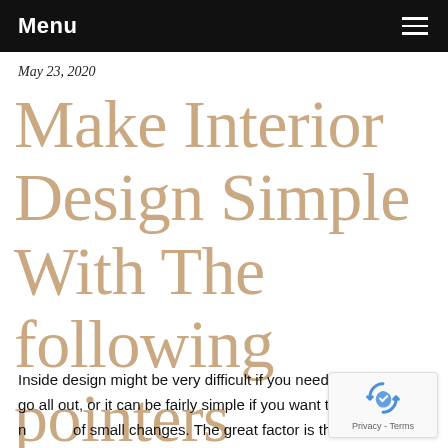Menu
May 23, 2020
Make Interior Design Simple With The following pointers
Inside design might be very difficult if you need to essentially go all out, or it can be fairly simple if you want to make a number of small changes. The great factor is that it is all under your control. If you wish to learn the way to improve your own